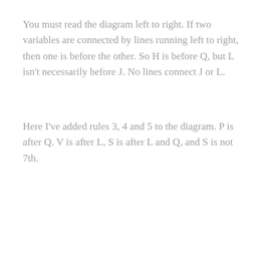You must read the diagram left to right. If two variables are connected by lines running left to right, then one is before the other. So H is before Q, but L isn't necessarily before J. No lines connect J or L.
Here I've added rules 3, 4 and 5 to the diagram. P is after Q. V is after L, S is after L and Q, and S is not 7th.